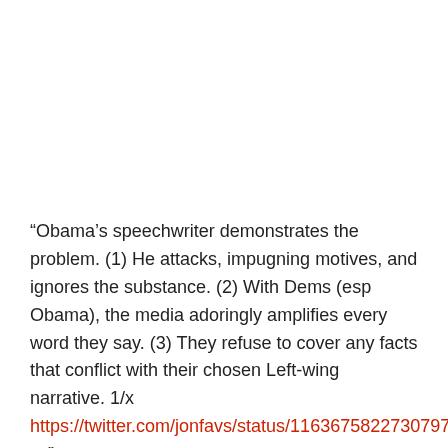“Obama’s speechwriter demonstrates the problem. (1) He attacks, impugning motives, and ignores the substance. (2) With Dems (esp Obama), the media adoringly amplifies every word they say. (3) They refuse to cover any facts that conflict with their chosen Left-wing narrative. 1/x https://twitter.com/jonfavs/status/1163675822730797056 …”
“So of course I retweet stories about the NYT scandal (from Fox, Wash Times, Daily Wire, etc.) BECAUSE THE